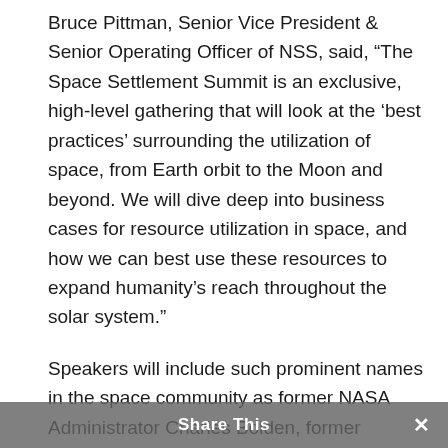Bruce Pittman, Senior Vice President & Senior Operating Officer of NSS, said, “The Space Settlement Summit is an exclusive, high-level gathering that will look at the ‘best practices’ surrounding the utilization of space, from Earth orbit to the Moon and beyond. We will dive deep into business cases for resource utilization in space, and how we can best use these resources to expand humanity’s reach throughout the solar system.”
Speakers will include such prominent names in the space community as former NASA Administrator Cha—Bolde—, former
Share This ×